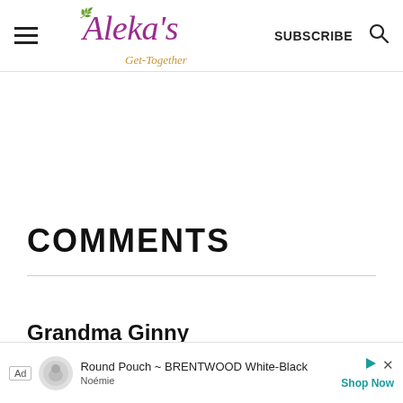Aleka's Get-Together — SUBSCRIBE
COMMENTS
Grandma Ginny
[Figure (other): Advertisement banner: Round Pouch ~ BRENTWOOD White-Black, Noémie, Shop Now]